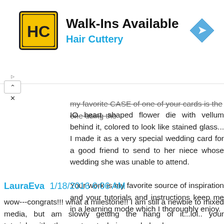[Figure (other): Hair Cuttery advertisement banner with logo and navigation icon. Text: Walk-Ins Available, Hair Cuttery]
my favorite CASE of one of your cards is the one using the IO heart shaped flower die with vellum behind it, colored to look like stained glass... I made it as a very special wedding card for a good friend to send to her niece whose wedding she was unable to attend.
Your work is my favorite source of inspiration and your tutorials and instructions keep me in a learning mode which I thoroughly enjoy.
Thank you so much for your willingness to share your talents, designs, and experiences with us!
Reply
LauraEva  1/18/2016 6:06 AM
wow---congrats!!! what a milestone!! I am still a newbie to mixed media, but am slowly getting the hang of it...lol.. your tutorial  with  the  water  techniques  helped  me